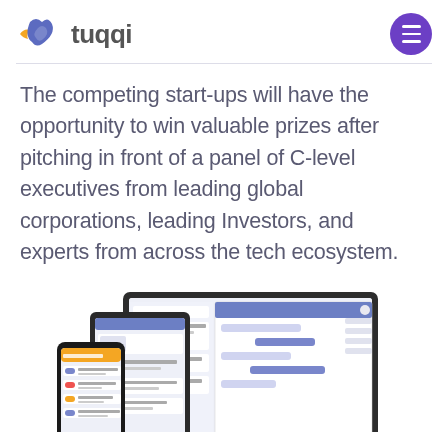[Figure (logo): Tuqqi logo with bird/heart icon in blue and orange, followed by the word 'tuqqi' in dark gray]
The competing start-ups will have the opportunity to win valuable prizes after pitching in front of a panel of C-level executives from leading global corporations, leading Investors, and experts from across the tech ecosystem.
[Figure (screenshot): Screenshot showing the Tuqqi platform on a laptop, tablet, and mobile phone, displaying a social/collaboration interface with feeds, chat, and user profiles]